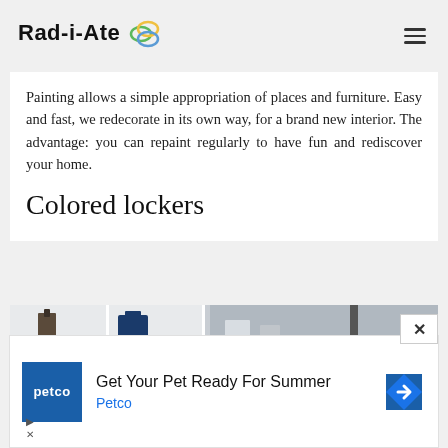Rad-i-Ate [logo icon]
Painting allows a simple appropriation of places and furniture. Easy and fast, we redecorate in its own way, for a brand new interior. The advantage: you can repaint regularly to have fun and rediscover your home.
Colored lockers
[Figure (photo): Photo of white shelving / lockers with items on shelves, partially visible]
[Figure (infographic): Advertisement banner: Petco logo, text 'Get Your Pet Ready For Summer', 'Petco', with a blue navigation arrow icon and ad controls (play/close buttons)]